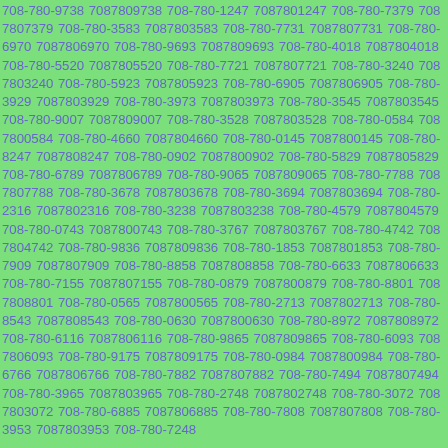708-780-9738 7087809738 708-780-1247 7087801247 708-780-7379 7087807379 708-780-3583 7087803583 708-780-7731 7087807731 708-780-6970 7087806970 708-780-9693 7087809693 708-780-4018 7087804018 708-780-5520 7087805520 708-780-7721 7087807721 708-780-3240 7087803240 708-780-5923 7087805923 708-780-6905 7087806905 708-780-3929 7087803929 708-780-3973 7087803973 708-780-3545 7087803545 708-780-9007 7087809007 708-780-3528 7087803528 708-780-0584 7087800584 708-780-4660 7087804660 708-780-0145 7087800145 708-780-8247 7087808247 708-780-0902 7087800902 708-780-5829 7087805829 708-780-6789 7087806789 708-780-9065 7087809065 708-780-7788 7087807788 708-780-3678 7087803678 708-780-3694 7087803694 708-780-2316 7087802316 708-780-3238 7087803238 708-780-4579 7087804579 708-780-0743 7087800743 708-780-3767 7087803767 708-780-4742 7087804742 708-780-9836 7087809836 708-780-1853 7087801853 708-780-7909 7087807909 708-780-8858 7087808858 708-780-6633 7087806633 708-780-7155 7087807155 708-780-0879 7087800879 708-780-8801 7087808801 708-780-0565 7087800565 708-780-2713 7087802713 708-780-8543 7087808543 708-780-0630 7087800630 708-780-8972 7087808972 708-780-6116 7087806116 708-780-9865 7087809865 708-780-6093 7087806093 708-780-9175 7087809175 708-780-0984 7087800984 708-780-6766 7087806766 708-780-7882 7087807882 708-780-7494 7087807494 708-780-3965 7087803965 708-780-2748 7087802748 708-780-3072 7087803072 708-780-6885 7087806885 708-780-7808 7087807808 708-780-3953 7087803953 708-780-7248